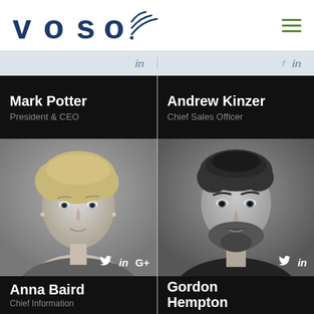[Figure (logo): VOSO logo with signal/wifi arc icon on the letter O, dark blue text]
≡ (hamburger menu icon, green)
Mark Potter
President & CEO
[Figure (photo): Black and white headshot of an older woman with short blonde hair, wearing earrings]
Twitter LinkedIn G+
Anna Baird
Chief Information
Andrew Kinzer
Chief Sales Officer
[Figure (photo): Black and white headshot of a young man with dark hair and beard, wearing a dark shirt]
Twitter LinkedIn
Gordon Hempton